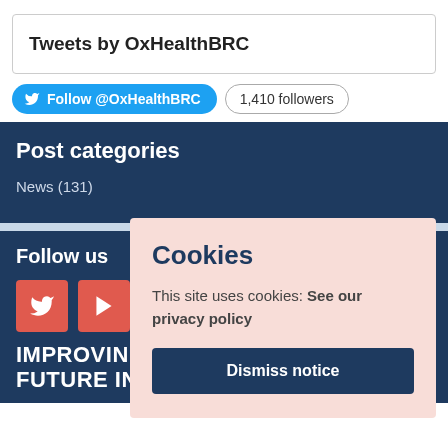Tweets by OxHealthBRC
Follow @OxHealthBRC  1,410 followers
Post categories
News (131)
Follow us
IMPROVING FUTURE IN MIND
Cookies
This site uses cookies: See our privacy policy
Dismiss notice